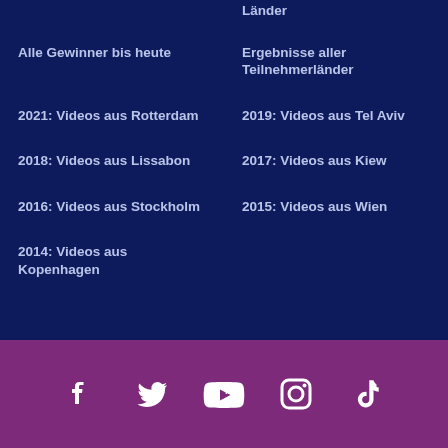Alle Gewinner bis heute
Ergebnisse aller Teilnehmerländer
2021: Videos aus Rotterdam
2019: Videos aus Tel Aviv
2018: Videos aus Lissabon
2017: Videos aus Kiew
2016: Videos aus Stockholm
2015: Videos aus Wien
2014: Videos aus Kopenhagen
[Figure (other): Social media icons: Facebook, Twitter, YouTube, Instagram, TikTok on purple background]